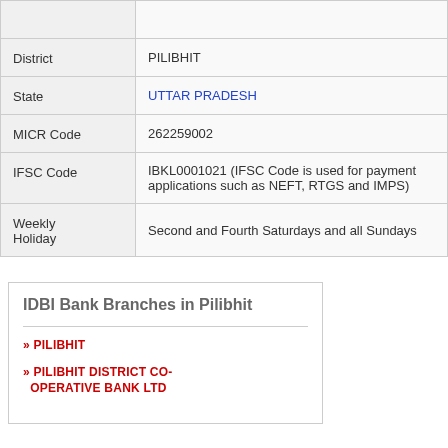| Field | Value |
| --- | --- |
| District | PILIBHIT |
| State | UTTAR PRADESH |
| MICR Code | 262259002 |
| IFSC Code | IBKL0001021 (IFSC Code is used for payment applications such as NEFT, RTGS and IMPS) |
| Weekly Holiday | Second and Fourth Saturdays and all Sundays |
IDBI Bank Branches in Pilibhit
PILIBHIT
PILIBHIT DISTRICT CO-OPERATIVE BANK LTD